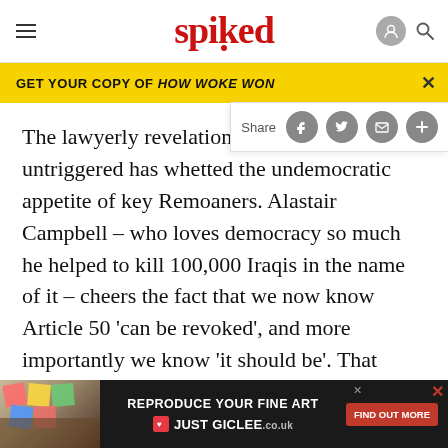spiked
GET YOUR COPY OF HOW WOKE WON
The lawyerly revelation that Article 50 can be untriggered has whetted the undemocratic appetite of key Remoaners. Alastair Campbell – who loves democracy so much he helped to kill 100,000 Iraqis in the name of it – cheers the fact that we now know Article 50 'can be revoked', and more importantly we know 'it should be'. That 17.4million people think it shouldn't is immaterial. We're all Iraqis to him. The
[Figure (screenshot): Advertisement banner: REPRODUCE YOUR FINE ART - JUST GICLEE with FIND OUT MORE button]